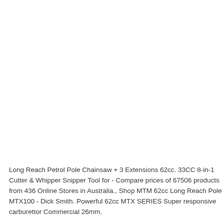Long Reach Petrol Pole Chainsaw + 3 Extensions 62cc. 33CC 8-in-1 Cutter & Whipper Snipper Tool for - Compare prices of 67506 products from 436 Online Stores in Australia., Shop MTM 62cc Long Reach P MTX100 - Dick Smith. Powerful 62cc MTX SERIES Super responsive carburettor Commercial 26mm.